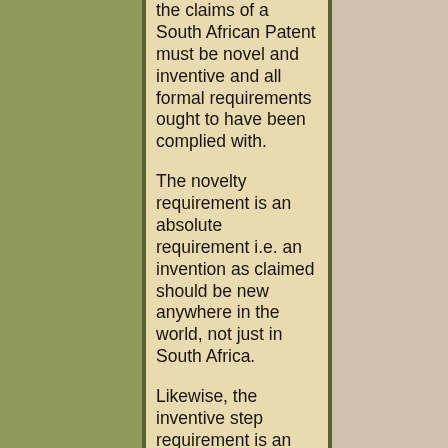the claims of a South African Patent must be novel and inventive and all formal requirements ought to have been complied with.
The novelty requirement is an absolute requirement i.e. an invention as claimed should be new anywhere in the world, not just in South Africa.
Likewise, the inventive step requirement is an absolute one.
The South African Patent Office is a non-examining office and all patent...